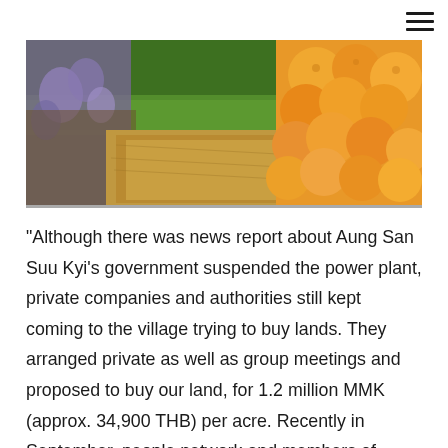[Figure (photo): A wide banner photo showing agricultural produce: purple flowers and herbs on the left, green grass/rice paddy in the background, grain or seeds in the middle, and a pile of oranges/citrus fruit on the right.]
“Although there was news report about Aung San Suu Kyi’s government suspended the power plant, private companies and authorities still kept coming to the village trying to buy lands. They arranged private as well as group meetings and proposed to buy our land, for 1.2 million MMK (approx. 34,900 THB) per acre. Recently in September, people network and members of parliament submitted a statement against the power plant. We absolutely understand that the world needs electricity.